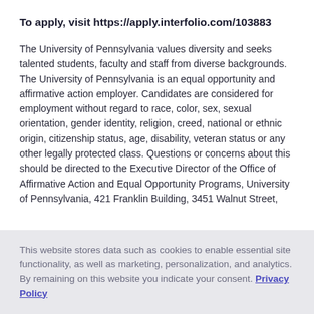To apply, visit https://apply.interfolio.com/103883
The University of Pennsylvania values diversity and seeks talented students, faculty and staff from diverse backgrounds. The University of Pennsylvania is an equal opportunity and affirmative action employer. Candidates are considered for employment without regard to race, color, sex, sexual orientation, gender identity, religion, creed, national or ethnic origin, citizenship status, age, disability, veteran status or any other legally protected class. Questions or concerns about this should be directed to the Executive Director of the Office of Affirmative Action and Equal Opportunity Programs, University of Pennsylvania, 421 Franklin Building, 3451 Walnut Street,
This website stores data such as cookies to enable essential site functionality, as well as marketing, personalization, and analytics. By remaining on this website you indicate your consent. Privacy Policy